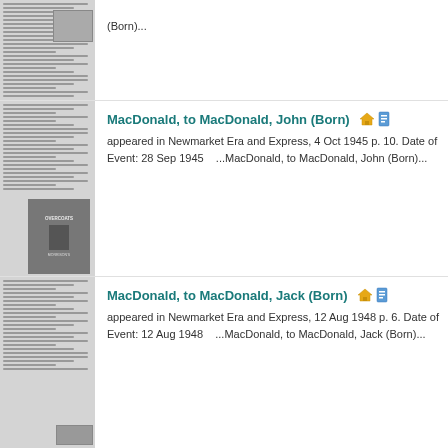[Figure (photo): Thumbnail of newspaper page - top partial entry]
(Born)...
[Figure (photo): Thumbnail of newspaper page with Overcoats advertisement]
MacDonald, to MacDonald, John (Born)
appeared in Newmarket Era and Express, 4 Oct 1945 p. 10. Date of Event: 28 Sep 1945    ...MacDonald, to MacDonald, John (Born)...
[Figure (photo): Thumbnail of newspaper page - third entry]
MacDonald, to MacDonald, Jack (Born)
appeared in Newmarket Era and Express, 12 Aug 1948 p. 6. Date of Event: 12 Aug 1948    ...MacDonald, to MacDonald, Jack (Born)...